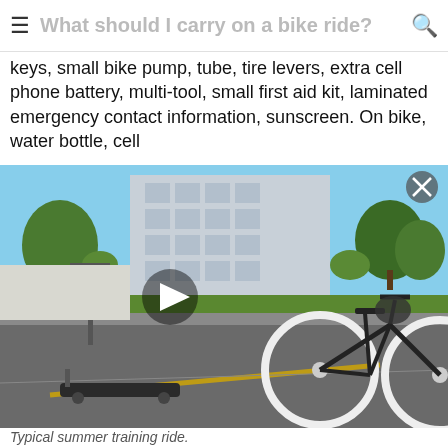What should I carry on a bike ride?
keys, small bike pump, tube, tire levers, extra cell phone battery, multi-tool, small first aid kit, laminated emergency contact information, sunscreen. On bike, water bottle, cell
[Figure (photo): A video thumbnail showing a bicycle and a skateboard on a road with a building and trees in the background. A play button is visible in the center. An X close button is in the upper right corner.]
Typical summer training ride.

left pocket: phone, ID, few dollars
center pocket: Epi-pen, 3d bottle if it's super hot
right pocket: key card, food if it's a long ride